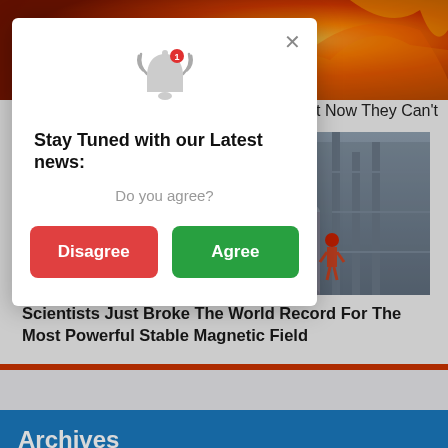[Figure (photo): Fiery/solar background image at top of page]
... But Now They Can't
[Figure (photo): Industrial facility with pipes, scaffolding, and worker in red hard hat]
Scientists Just Broke The World Record For The Most Powerful Stable Magnetic Field
[Figure (screenshot): Modal popup: Stay Tuned with our Latest news notification consent dialog with Disagree and Agree buttons]
Archives